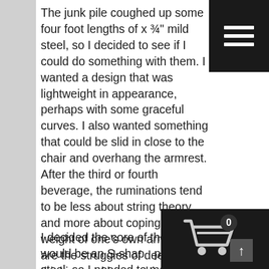The junk pile coughed up some four foot lengths of x ¾" mild steel, so I decided to see if I could do something with them. I wanted a design that was lightweight in appearance, perhaps with some graceful curves. I also wanted something that could be slid in close to the chair and overhang the armrest. After the third or fourth beverage, the ruminations tend to be less about string theory, and more about coping with the weight of one's own arm. These are the struggles of deep thinking and heavy drinking. The last design goal I had was for something asymmetrical with the feeling of a cantilever. I'm partial to things that look at a glance like they should be unstable, because they showcase the beauty of physics, and the power of engineering.
I decided the core of the stand would be an S-shaped piece of steel, so I needed to make some large-radius bends in the material. Doing this really cleanly and